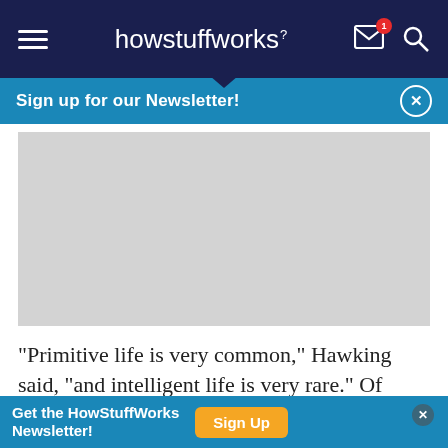howstuffworks
Sign up for our Newsletter!
[Figure (other): Gray placeholder image area for an article photo]
"Primitive life is very common," Hawking said, "and intelligent life is very rare." Of course, he threw in his
Get the HowStuffWorks Newsletter!